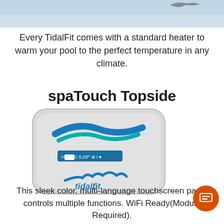[Figure (photo): Top portion of a pool/landscape photo with bird, cropped at top of page]
Every TidalFit comes with a standard heater to warm your pool to the perfect temperature in any climate.
spaTouch Topside
[Figure (photo): spaTouch Topside device (touchscreen controller with TidalFit branding) with a chat popup overlay showing a woman's avatar and message: 'Hi there, have a question? Text us here.' with a close button and orange chat button.]
This sleek color, multi-language touchscreen panel controls multiple functions. WiFi Ready(Module Required).